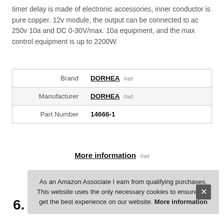timer delay is made of electronic accessories, inner conductor is pure copper. 12v module, the output can be connected to ac 250v 10a and DC 0-30V/max. 10a equipment, and the max control equipment is up to 2200W.
|  |  |
| --- | --- |
| Brand | DORHEA #ad |
| Manufacturer | DORHEA #ad |
| Part Number | 14666-1 |
More information #ad
As an Amazon Associate I earn from qualifying purchases. This website uses the only necessary cookies to ensure you get the best experience on our website. More information